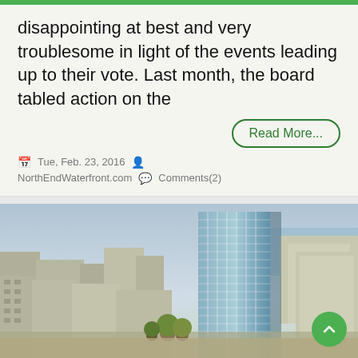disappointing at best and very troublesome in light of the events leading up to their vote. Last month, the board tabled action on the
Read More...
Tue, Feb. 23, 2016   NorthEndWaterfront.com   Comments(2)
[Figure (illustration): 3D architectural rendering of a city block showing a tall glass skyscraper tower surrounded by lower urban buildings, with trees visible at street level and water/harbor visible in the background.]